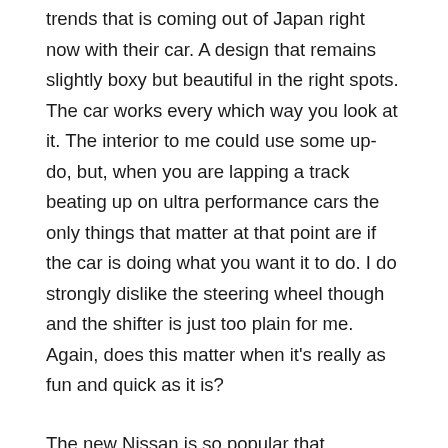trends that is coming out of Japan right now with their car. A design that remains slightly boxy but beautiful in the right spots. The car works every which way you look at it. The interior to me could use some up-do, but, when you are lapping a track beating up on ultra performance cars the only things that matter at that point are if the car is doing what you want it to do. I do strongly dislike the steering wheel though and the shifter is just too plain for me. Again, does this matter when it's really as fun and quick as it is?
The new Nissan is so popular that European enthusiasts are damning the wait and finding people in Japan that will import it to them for whatever the cost. Nissan has been trying to take away from this threat but there hasn't been much they can do. They have also tried to halt the increased amount people are paying at the dealerships. The biggest thing that